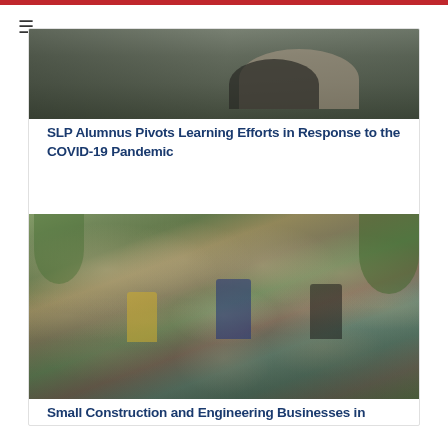[Figure (photo): Partial view of a person in dark clothing, cropped at top of page]
SLP Alumnus Pivots Learning Efforts in Response to the COVID-19 Pandemic
[Figure (photo): Group photo of approximately 25 people, men and women, standing together indoors with plants in background, likely a MEPI/NEF program group in Morocco]
Small Construction and Engineering Businesses in Morocco Receive Support from MEPI and NEF